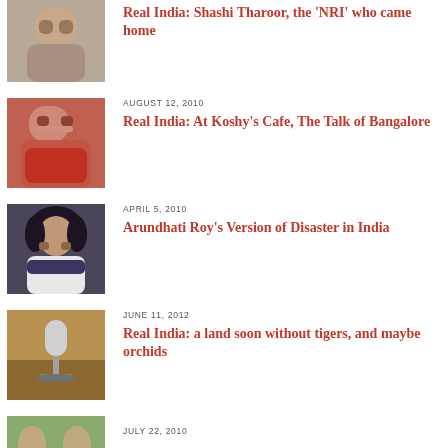[Figure (photo): Photo of Shashi Tharoor (man in grey/beige)]
Real India: Shashi Tharoor, the 'NRI' who came home
[Figure (photo): Photo of man in red shirt at cafe]
AUGUST 12, 2010
Real India: At Koshy's Cafe, The Talk of Bangalore
[Figure (photo): Photo of Arundhati Roy]
APRIL 5, 2010
Arundhati Roy's Version of Disaster in India
[Figure (photo): Photo of microphone in studio setting]
JUNE 11, 2012
Real India: a land soon without tigers, and maybe orchids
[Figure (photo): Photo of people outdoors]
JULY 22, 2010